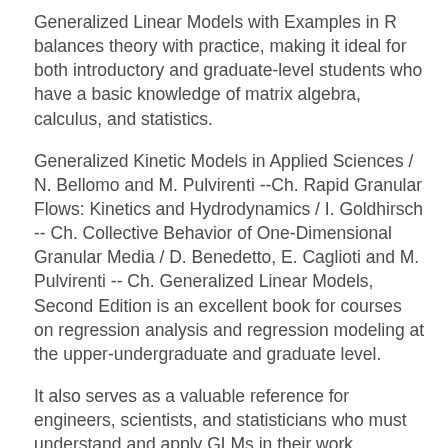Generalized Linear Models with Examples in R balances theory with practice, making it ideal for both introductory and graduate-level students who have a basic knowledge of matrix algebra, calculus, and statistics.
Generalized Kinetic Models in Applied Sciences / N. Bellomo and M. Pulvirenti --Ch. Rapid Granular Flows: Kinetics and Hydrodynamics / I. Goldhirsch -- Ch. Collective Behavior of One-Dimensional Granular Media / D. Benedetto, E. Caglioti and M. Pulvirenti -- Ch. Generalized Linear Models, Second Edition is an excellent book for courses on regression analysis and regression modeling at the upper-undergraduate and graduate level.
It also serves as a valuable reference for engineers, scientists, and statisticians who must understand and apply GLMs in their work. "Generalized linear models, second edition, is an excellent book for courses on regression analysis and regression modeling at the upper-undergraduate and graduate levels.